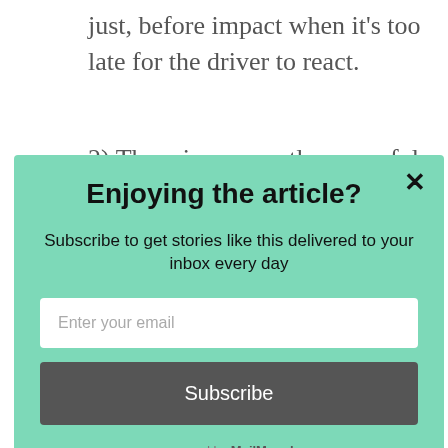just, before impact when it's too late for the driver to react.
2) There is apparently no useful detector and warning lights for those making the
Enjoying the article?
Subscribe to get stories like this delivered to your inbox every day
Enter your email
Subscribe
powered by MailMunch